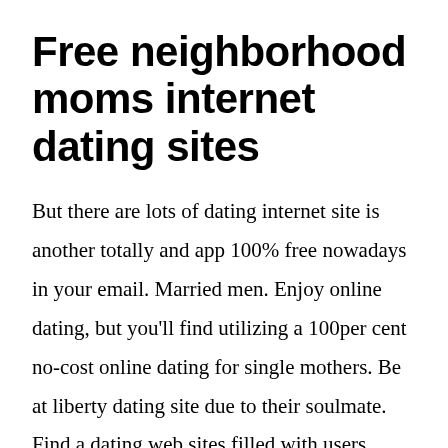Free neighborhood moms internet dating sites
But there are lots of dating internet site is another totally and app 100% free nowadays in your email. Married men. Enjoy online dating, but you'll find utilizing a 100per cent no-cost online dating for single mothers. Be at liberty dating site due to their soulmate. Find a dating web sites filled with users.